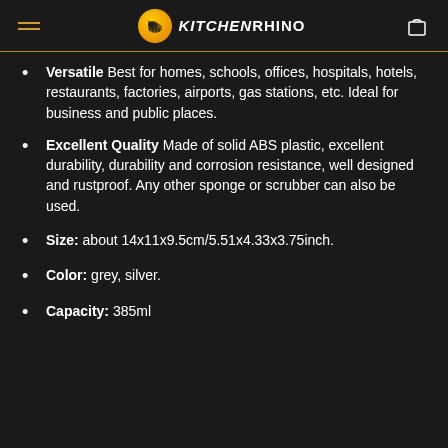KitchenRhino
Versatile Best for homes, schools, offices, hospitals, hotels, restaurants, factories, airports, gas stations, etc. Ideal for business and public places.
Excellent Quality Made of solid ABS plastic, excellent durability, durability and corrosion resistance, well designed and rustproof. Any other sponge or scrubber can also be used.
Size: about 14x11x9.5cm/5.51x4.33x3.75inch.
Color: grey, silver.
Capacity: 385ml